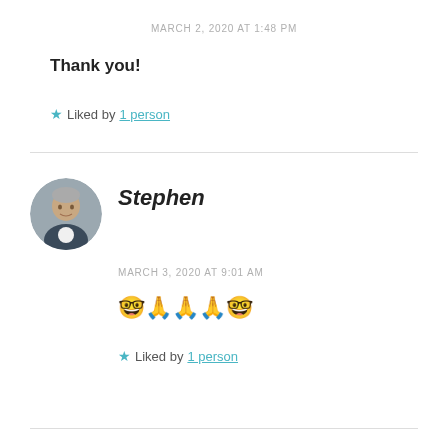MARCH 2, 2020 AT 1:48 PM
Thank you!
★ Liked by 1 person
Stephen
MARCH 3, 2020 AT 9:01 AM
🤓🙏🙏🙏🤓
★ Liked by 1 person